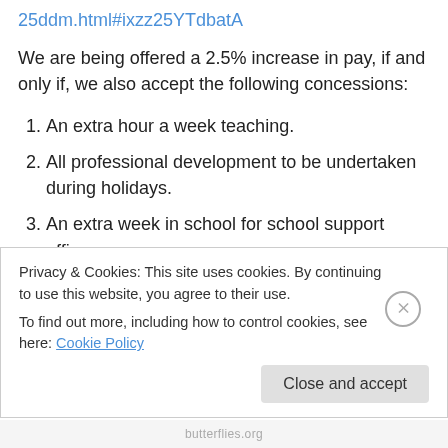25ddm.html#ixzz25YTdbatA
We are being offered a 2.5% increase in pay, if and only if, we also accept the following concessions:
1. An extra hour a week teaching.
2. All professional development to be undertaken during holidays.
3. An extra week in school for school support officers.
4. There is no longer an automatic increase in pay.
5. Teachers will be paid bonuses instead of wage increases.
Privacy & Cookies: This site uses cookies. By continuing to use this website, you agree to their use. To find out more, including how to control cookies, see here: Cookie Policy
Close and accept